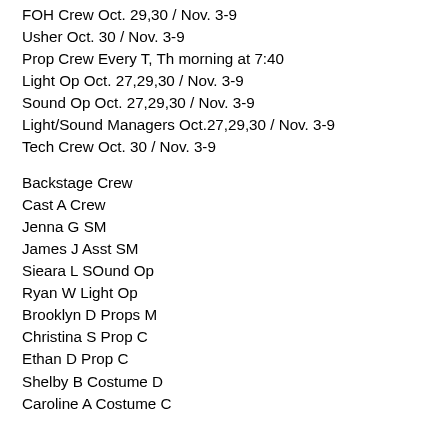FOH Crew Oct. 29,30 / Nov. 3-9
Usher Oct. 30 / Nov. 3-9
Prop Crew Every T, Th morning at 7:40
Light Op Oct. 27,29,30 / Nov. 3-9
Sound Op Oct. 27,29,30 / Nov. 3-9
Light/Sound Managers Oct.27,29,30 / Nov. 3-9
Tech Crew Oct. 30 / Nov. 3-9
Backstage Crew
Cast A Crew
Jenna G SM
James J Asst SM
Sieara L SOund Op
Ryan W Light Op
Brooklyn D Props M
Christina S Prop C
Ethan D Prop C
Shelby B Costume D
Caroline A Costume C